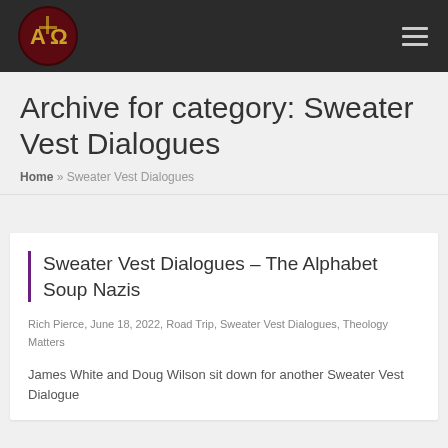[Figure (logo): Alpha and Omega Ministries logo — circular red and dark badge with stylized 'AΩ' letters and a cross]
Archive for category: Sweater Vest Dialogues
Home » Sweater Vest Dialogues
Sweater Vest Dialogues – The Alphabet Soup Nazis
Rich Pierce, June 18, 2022, Road Trip, Sweater Vest Dialogues, Theology Matters
James White and Doug Wilson sit down for another Sweater Vest Dialogue